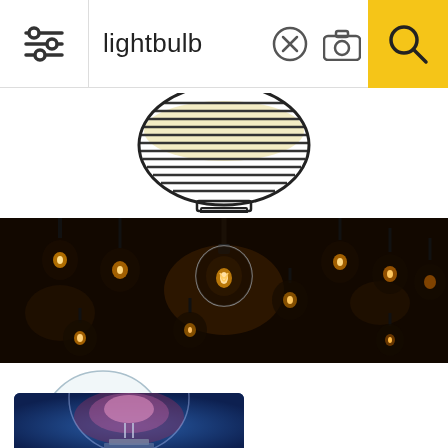[Figure (screenshot): Search bar UI with filter icon on left, text input showing 'lightbulb', X button, camera icon, and yellow search button with magnifying glass on right]
[Figure (illustration): Sketch/illustration of a lightbulb shown as stacked horizontal lines forming a bulb shape, drawn in black and white with yellow tint at top]
[Figure (photo): Dark atmospheric photo of multiple Edison-style vintage lightbulbs hanging from ceiling, glowing with warm amber filaments against very dark brown/black background]
[Figure (photo): Clear incandescent lightbulb with visible internal structure, metal base, on white background]
[Figure (photo): Lightbulb glowing with soft pink/purple light against dark blue gradient background, showing internal filament structure]